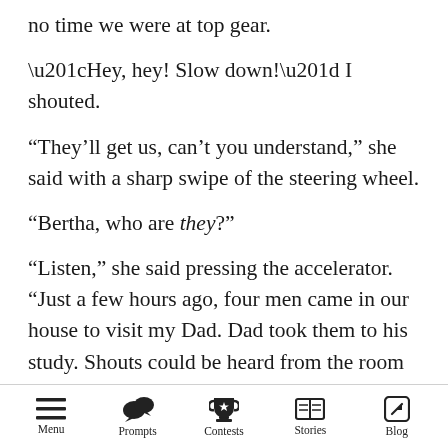no time we were at top gear.
“Hey, hey! Slow down!” I shouted.
“They’ll get us, can’t you understand,” she said with a sharp swipe of the steering wheel.
“Bertha, who are they?”
“Listen,” she said pressing the accelerator. “Just a few hours ago, four men came in our house to visit my Dad. Dad took them to his study. Shouts could be heard from the room though I couldn’t catch the conversation. After some time, Dad came to my room, took out a file from his jacket and whispered to me that I should get out of our house from the back door and somehow meet
Menu  Prompts  Contests  Stories  Blog